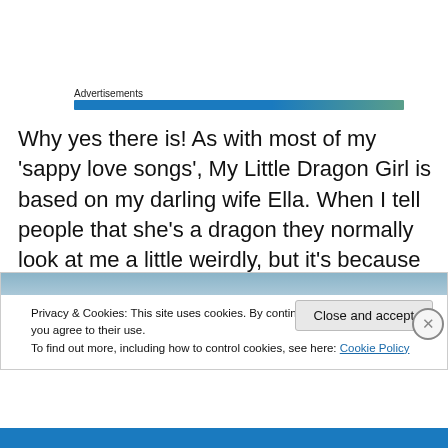Advertisements
Why yes there is! As with most of my ‘sappy love songs’, My Little Dragon Girl is based on my darling wife Ella. When I tell people that she’s a dragon they normally look at me a little weirdly, but it’s because she was born in the Chinese Year of the Dragon!
Privacy & Cookies: This site uses cookies. By continuing to use this website, you agree to their use.
To find out more, including how to control cookies, see here: Cookie Policy
Close and accept